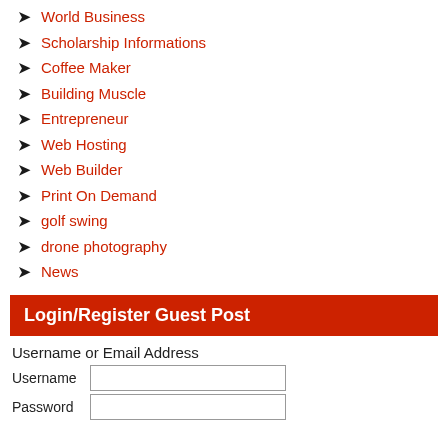World Business
Scholarship Informations
Coffee Maker
Building Muscle
Entrepreneur
Web Hosting
Web Builder
Print On Demand
golf swing
drone photography
News
Login/Register Guest Post
Username or Email Address
Username
Password